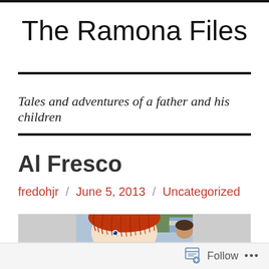The Ramona Files
Tales and adventures of a father and his children
Al Fresco
fredohjr / June 5, 2013 / Uncategorized
[Figure (photo): Photo of a red-haired doll (Cabbage Patch style) in the foreground with a child visible in the background, taken in what appears to be a car.]
Follow ...